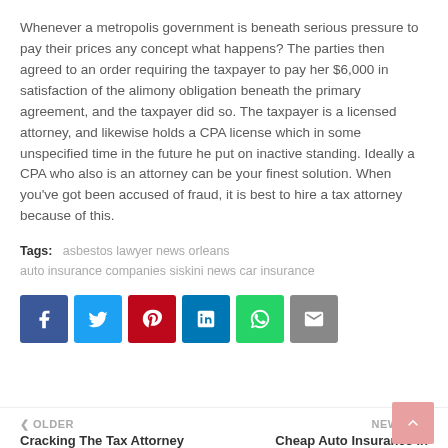Whenever a metropolis government is beneath serious pressure to pay their prices any concept what happens? The parties then agreed to an order requiring the taxpayer to pay her $6,000 in satisfaction of the alimony obligation beneath the primary agreement, and the taxpayer did so. The taxpayer is a licensed attorney, and likewise holds a CPA license which in some unspecified time in the future he put on inactive standing. Ideally a CPA who also is an attorney can be your finest solution. When you've got been accused of fraud, it is best to hire a tax attorney because of this.
Tags: asbestos lawyer news orleans auto insurance companies siskini news car insurance
[Figure (infographic): Social sharing buttons row: Facebook (blue), Twitter (light blue), Pinterest (red), LinkedIn (dark blue), WhatsApp (green), Email (gray)]
< OLDER | Cracking The Tax Attorney ... | NEWER > | Cheap Auto Insurance In ...